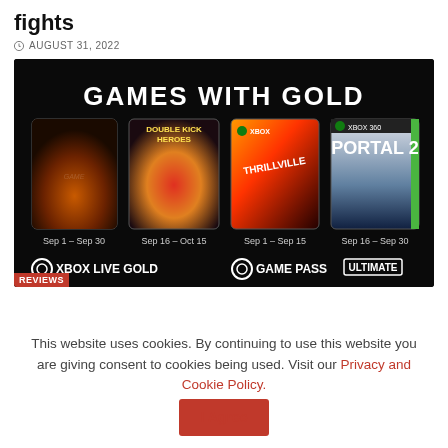fights
AUGUST 31, 2022
[Figure (screenshot): Games With Gold promotional image showing four game covers: an unnamed game (Sep 1–Sep 30), Double Kick Heroes (Sep 16–Oct 15), Thrillville (Sep 1–Sep 15), Portal 2 (Sep 16–Sep 30). Bottom shows Xbox Live Gold and Game Pass Ultimate logos.]
This website uses cookies. By continuing to use this website you are giving consent to cookies being used. Visit our Privacy and Cookie Policy. I Agree